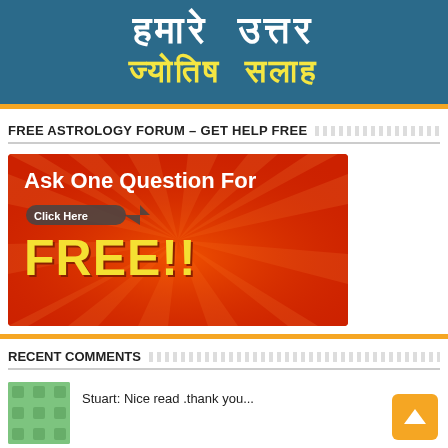[Figure (illustration): Header banner with teal/blue background showing Hindi text 'हमारे उत्तर' in white and 'ज्योतिष सलाह' in yellow]
FREE ASTROLOGY FORUM – GET HELP FREE
[Figure (illustration): Red advertisement banner: 'Ask One Question For FREE!!' with a click-here arrow button on red sunray background]
RECENT COMMENTS
Stuart: Nice read .thank you...
Navneet Khanna: As he is born under Ashwini nakshatra, he has gandmool dosha. There is also part...